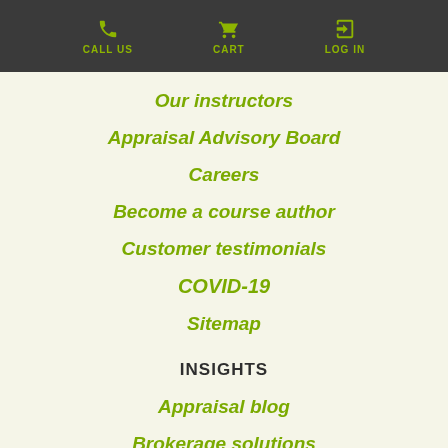CALL US  CART  LOG IN
Our instructors
Appraisal Advisory Board
Careers
Become a course author
Customer testimonials
COVID-19
Sitemap
INSIGHTS
Appraisal blog
Brokerage solutions
Real estate helpful resources